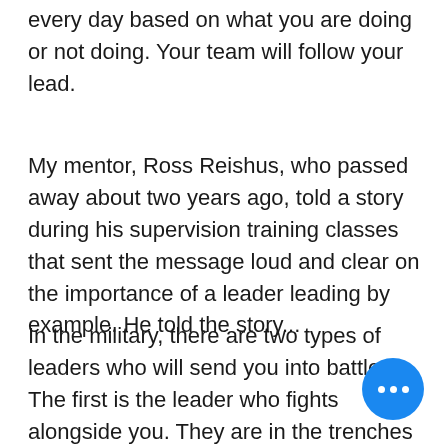every day based on what you are doing or not doing. Your team will follow your lead.
My mentor, Ross Reishus, who passed away about two years ago, told a story during his supervision training classes that sent the message loud and clear on the importance of a leader leading by example. He told the story...
In the military, there are two types of leaders who will send you into battle. The first is the leader who fights alongside you. They are in the trenches with you! The ones who'll save your life! The other is the leader who'll put you out there first as they stand safely behind the lines.